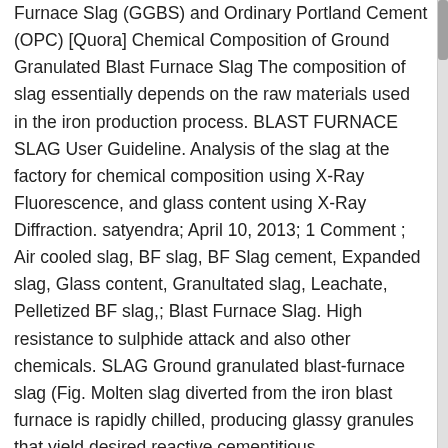Furnace Slag (GGBS) and Ordinary Portland Cement (OPC) [Quora] Chemical Composition of Ground Granulated Blast Furnace Slag The composition of slag essentially depends on the raw materials used in the iron production process. BLAST FURNACE SLAG User Guideline. Analysis of the slag at the factory for chemical composition using X-Ray Fluorescence, and glass content using X-Ray Diffraction. satyendra; April 10, 2013; 1 Comment ; Air cooled slag, BF slag, BF Slag cement, Expanded slag, Glass content, Granultated slag, Leachate, Pelletized BF slag,; Blast Furnace Slag. High resistance to sulphide attack and also other chemicals. SLAG Ground granulated blast-furnace slag (Fig. Molten slag diverted from the iron blast furnace is rapidly chilled, producing glassy granules that yield desired reactive cementitious characteristics when ground into cement fineness. UltraTech Premium is a concrete special cement, produced in UltraTech's state-of-the-art manufacturing facilities with carefully selected premium ingredients to deliver to the customer cement that produces both